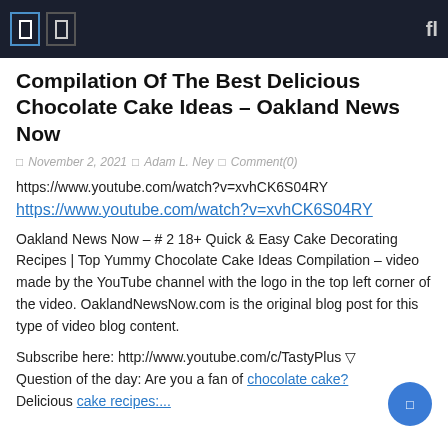Navigation bar with icons and search
Compilation Of The Best Delicious Chocolate Cake Ideas – Oakland News Now
November 2, 2021  Adam L. Ney  Comment(0)
https://www.youtube.com/watch?v=xvhCK6S04RY
https://www.youtube.com/watch?v=xvhCK6S04RY
Oakland News Now – # 2 18+ Quick & Easy Cake Decorating Recipes | Top Yummy Chocolate Cake Ideas Compilation – video made by the YouTube channel with the logo in the top left corner of the video. OaklandNewsNow.com is the original blog post for this type of video blog content.
Subscribe here: http://www.youtube.com/c/TastyPlus ▽ Question of the day: Are you a fan of chocolate cake? Delicious cake recipes:...